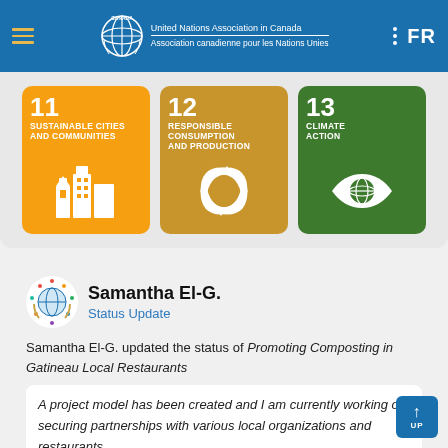United Nations Association in Canada / Association canadienne pour les Nations Unies | FR
[Figure (infographic): SDG card 11 - Sustainable Cities and Communities (orange background with city buildings icon)]
[Figure (infographic): SDG card 12 - Responsible Consumption and Production (gold/olive background with infinity loop icon)]
[Figure (infographic): SDG card 13 - Climate Action (dark green background with eye and globe icon)]
Samantha El-G.
Status Update
Samantha El-G. updated the status of Promoting Composting in Gatineau Local Restaurants
A project model has been created and I am currently working on securing partnerships with various local organizations and restaurants.
February 20, 2021 at 10:13AM